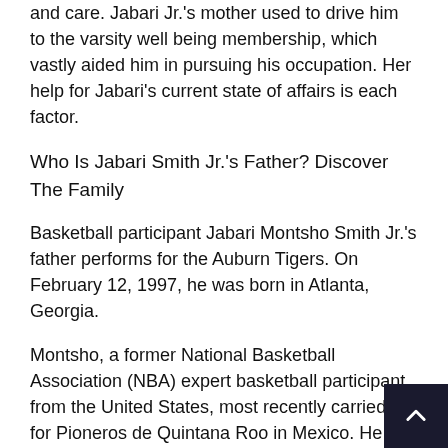and care. Jabari Jr.'s mother used to drive him to the varsity well being membership, which vastly aided him in pursuing his occupation. Her help for Jabari's current state of affairs is each factor.
Who Is Jabari Smith Jr.'s Father? Discover The Family
Basketball participant Jabari Montsho Smith Jr.'s father performs for the Auburn Tigers. On February 12, 1997, he was born in Atlanta, Georgia.
Montsho, a former National Basketball Association (NBA) expert basketball participant from the United States, most recently carried out for Pioneros de Quintana Roo in Mexico. He has participated in sports activities actions for lots of teams in Spain, Turkey, Iran, and Puerto Rico.
He graduated from Atlanta Metropolitan State after ending highschool at Booker T. Washington (1996-1998).